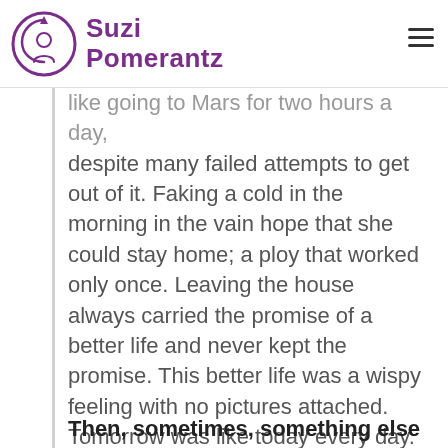Suzi Pomerantz
like going to Mars for two hours a day, despite many failed attempts to get out of it. Faking a cold in the morning in the vain hope that she could stay home; a ploy that worked only once. Leaving the house always carried the promise of a better life and never kept the promise. This better life was a wispy feeling with no pictures attached. Tomorrow was like today every day.
Then, sometimes, something else happened.